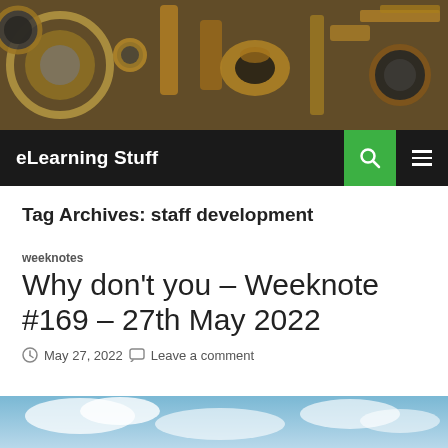[Figure (photo): Header photo showing brass scientific instruments on a wooden surface — lenses, knobs, cylinders in gold/bronze tones]
eLearning Stuff
Tag Archives: staff development
weeknotes
Why don't you – Weeknote #169 – 27th May 2022
May 27, 2022   Leave a comment
[Figure (photo): Partial view of a blue sky image at the bottom of the page]